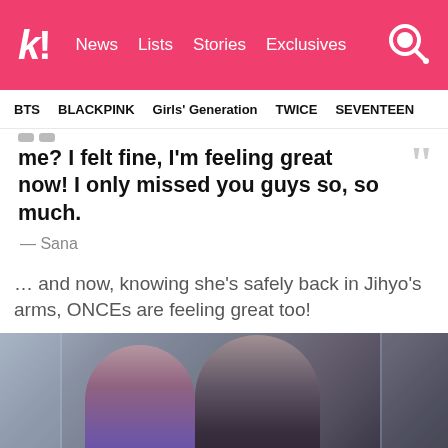k! News  Lists  Stories  Exclusives
BTS   BLACKPINK   Girls' Generation   TWICE   SEVENTEEN
me? I felt fine, I'm feeling great now! I only missed you guys so, so much.
— Sana
… and now, knowing she's safely back in Jihyo's arms, ONCEs are feeling great too!
[Figure (photo): Two young women laughing and waving at the camera, one in a purple outfit and one in a black jacket, in front of a glass building background.]